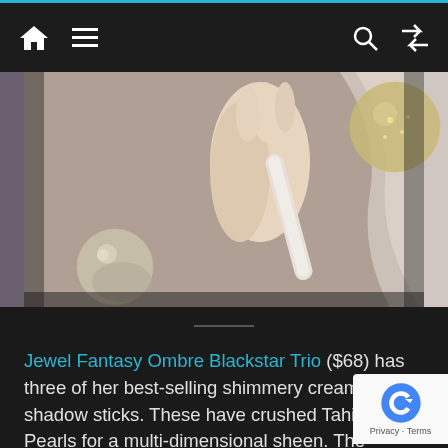Navigation bar with home, menu, search, and shuffle icons
[Figure (photo): Photo of a hand holding what appears to be a cream shadow stick or cosmetic product, with silver/pearl ornament balls on a mauve/taupe background]
Jewel Fantasy Ombre Blackstar Trio ($68) has three of her best-selling shimmery cream shadow sticks. These have crushed Tahitian Pearls for a multi-dimensional sheen. The colours are stunning and cling to the lids as soon as they set, so as soon as they dry, they're just about budge-proof. Frozen Quartz is a shimmery pale pink, Misty Rock is a beautiful plum purple with silv shimmer, Bronze Moon is a shimmering taupe